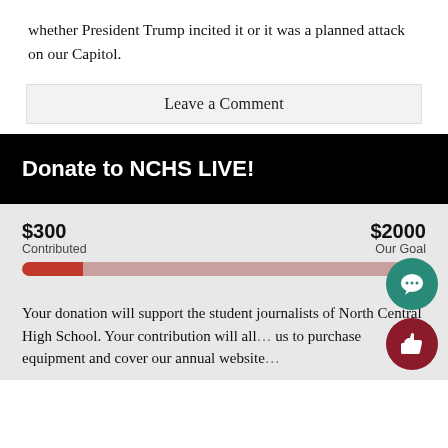whether President Trump incited it or it was a planned attack on our Capitol.
Leave a Comment
Donate to NCHS LIVE!
[Figure (infographic): Donation progress bar showing $300 contributed out of $2000 goal, approximately 15% filled. Red fill on left, pink background bar extending to right.]
Your donation will support the student journalists of North Central High School. Your contribution will allow us to purchase equipment and cover our annual website